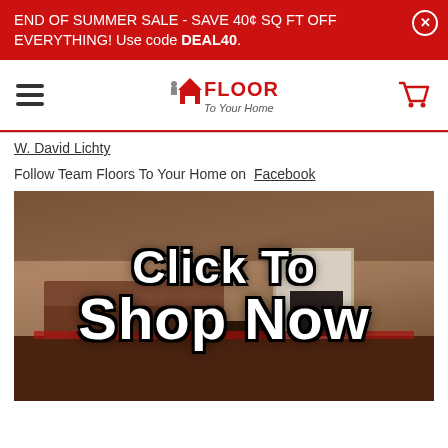END OF SUMMER SALE - SAVE 40¢ SQ FT OFF EVERYTHING! Use code DEAL40.
[Figure (logo): Floors To Your Home logo with house icon, red text FLOORS TO YOUR HOME, hamburger menu icon, and cart icon]
W. David Lichty
Follow Team Floors To Your Home on  Facebook
[Figure (photo): Photo of a living room with leather sofas and hardwood floors overlaid with large white text reading 'Click To Shop Now']